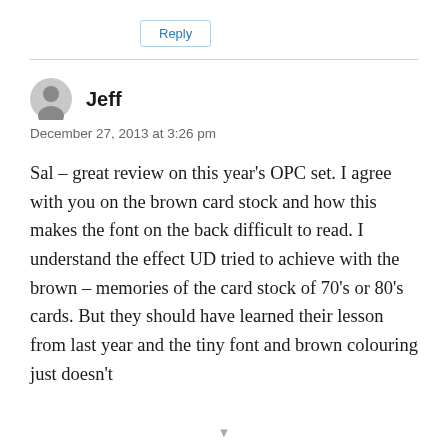Reply
Jeff
December 27, 2013 at 3:26 pm
Sal – great review on this year's OPC set. I agree with you on the brown card stock and how this makes the font on the back difficult to read. I understand the effect UD tried to achieve with the brown – memories of the card stock of 70's or 80's cards. But they should have learned their lesson from last year and the tiny font and brown colouring just doesn't